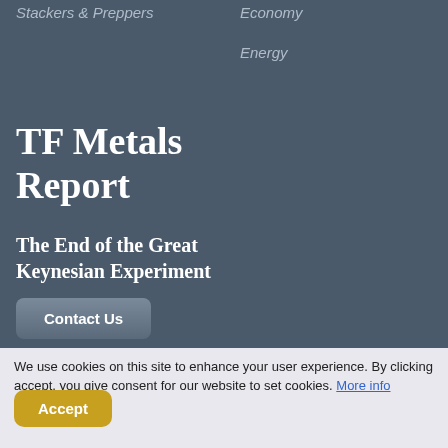Stackers & Preppers
Economy
Energy
TF Metals Report
The End of the Great Keynesian Experiment
Contact Us
We use cookies on this site to enhance your user experience. By clicking accept, you give consent for our website to set cookies. More info
Accept